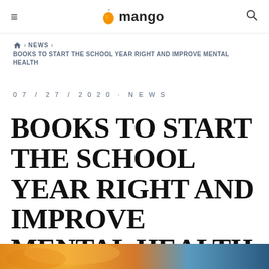mango
🏠 > NEWS > BOOKS TO START THE SCHOOL YEAR RIGHT AND IMPROVE MENTAL HEALTH
07 / 27 / 2020 · NEWS
BOOKS TO START THE SCHOOL YEAR RIGHT AND IMPROVE MENTAL HEALTH
[Figure (photo): Colorful image strip at the bottom of the page, partially visible, showing warm orange and blue tones]